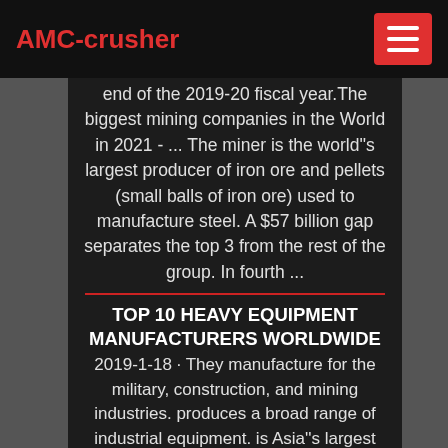AMC-crusher
end of the 2019-20 fiscal year. The biggest mining companies in the World in 2021 - ... The miner is the world''s largest producer of iron ore and pellets (small balls of iron ore) used to manufacture steel. A $57 billion gap separates the top 3 from the rest of the group. In fourth ...
TOP 10 HEAVY EQUIPMENT MANUFACTURERS WORLDWIDE
2019-1-18 · They manufacture for the military, construction, and mining industries. produces a broad range of industrial equipment. is Asia''s largest manufacturer of heavy industrial machinery. They are second only to worldwide. (Asia) Japan-based is a leading construction equipment